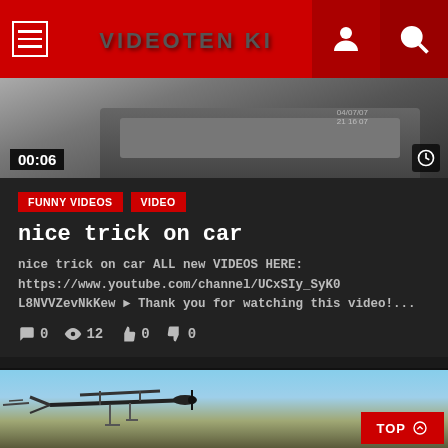VIDEOTEN KI
[Figure (screenshot): Video thumbnail showing a car with timestamp 00:06]
FUNNY VIDEOS
VIDEO
nice trick on car
nice trick on car ALL new VIDEOS HERE: https://www.youtube.com/channel/UCxSIy_SyK0L8NVVZevNkKew ► Thank you for watching this video!...
0  12  0  0
[Figure (photo): Video thumbnail showing an airplane/biplane against blue sky, with TOP button overlay]